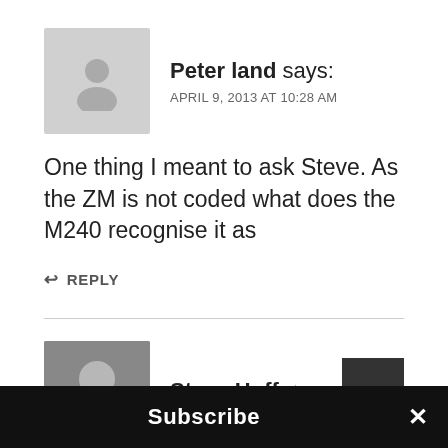Peter land says: APRIL 9, 2013 AT 10:28 AM
One thing I meant to ask Steve. As the ZM is not coded what does the M240 recognise it as
REPLY
Steve Huff ☆ says:
Subscribe